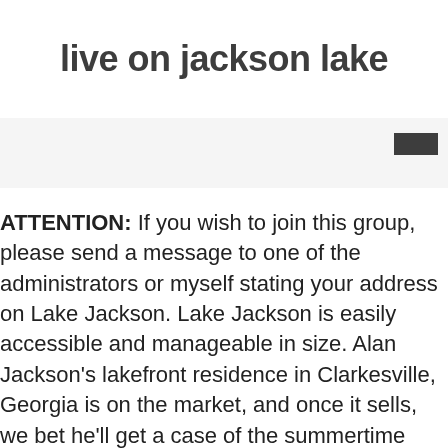live on jackson lake
[Figure (other): Dark gray/black rectangle button element in the upper right area]
ATTENTION: If you wish to join this group, please send a message to one of the administrators or myself stating your address on Lake Jackson. Lake Jackson is easily accessible and manageable in size. Alan Jackson's lakefront residence in Clarkesville, Georgia is on the market, and once it sells, we bet he'll get a case of the summertime blues when reminiscing about spending sunny days on Lake Burton.. Share. This 1,344 square foot house features 3 bedrooms and 1.5 bathrooms. Over 2000 Amazingly Affordable Waterfront Lake Homes from